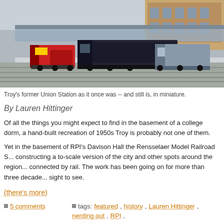[Figure (photo): Aerial view of a model train layout depicting Troy's former Union Station, with red and black locomotives at platforms, detailed station buildings and platforms visible]
Troy's former Union Station as it once was -- and still is, in miniature.
By Lauren Hittinger
Of all the things you might expect to find in the basement of a college dorm, a hand-built recreation of 1950s Troy is probably not one of them.
Yet in the basement of RPI's Davison Hall the Rensselaer Model Railroad S... constructing a to-scale version of the city and other spots around the region... connected by rail. The work has been going on for more than three decades... sight to see.
(there's more)
5 comments
tags: featured, history, Lauren Hittinger, nerding out, RPI,